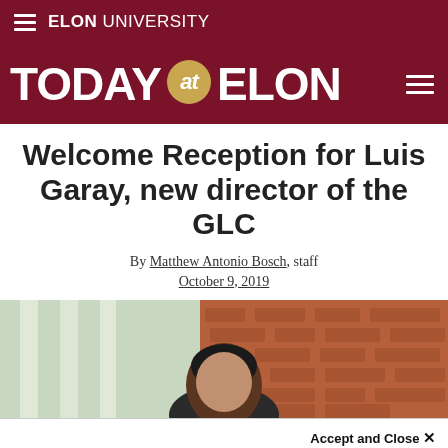ELON UNIVERSITY
TODAY at ELON
Welcome Reception for Luis Garay, new director of the GLC
By Matthew Antonio Bosch, staff
October 9, 2019
[Figure (photo): Photo of Luis Garay outdoors near brick wall and columns]
Accept and Close ×
Your browser settings do not allow cross-site tracking for advertising. Click on this page to allow AdRoll to use cross-site tracking to tailor ads to you. Learn more or opt out of this AdRoll tracking by clicking here. This message only appears once.